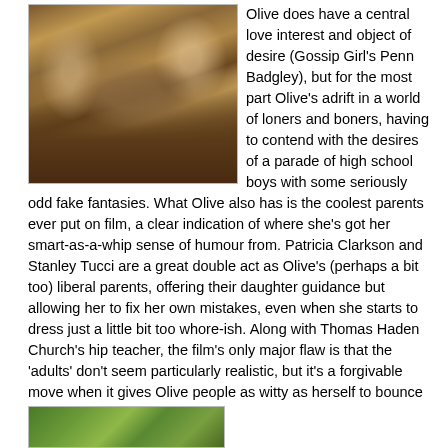[Figure (photo): Movie still showing people lounging on a couch in a living room scene]
Olive does have a central love interest and object of desire (Gossip Girl's Penn Badgley), but for the most part Olive's adrift in a world of loners and boners, having to contend with the desires of a parade of high school boys with some seriously odd fake fantasies. What Olive also has is the coolest parents ever put on film, a clear indication of where she's got her smart-as-a-whip sense of humour from. Patricia Clarkson and Stanley Tucci are a great double act as Olive's (perhaps a bit too) liberal parents, offering their daughter guidance but allowing her to fix her own mistakes, even when she starts to dress just a little bit too whore-ish. Along with Thomas Haden Church's hip teacher, the film's only major flaw is that the 'adults' don't seem particularly realistic, but it's a forgivable move when it gives Olive people as witty as herself to bounce off.
[Figure (photo): Partial view of a green outdoor/nature scene at the bottom of the page]